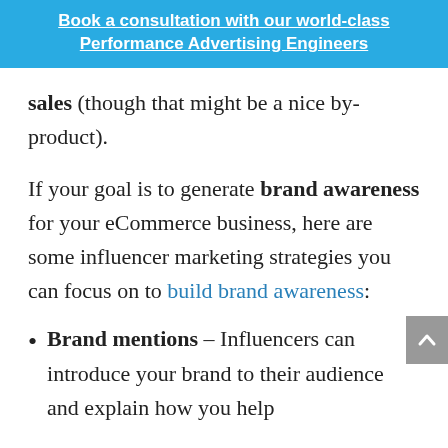Book a consultation with our world-class Performance Advertising Engineers
sales (though that might be a nice by-product).
If your goal is to generate brand awareness for your eCommerce business, here are some influencer marketing strategies you can focus on to build brand awareness:
Brand mentions – Influencers can introduce your brand to their audience and explain how you help